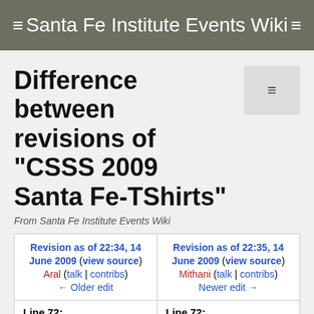Santa Fe Institute Events Wiki
Difference between revisions of "CSSS 2009 Santa Fe-TShirts"
From Santa Fe Institute Events Wiki
| Revision as of 22:34, 14 June 2009 (view source) | Revision as of 22:35, 14 June 2009 (view source) |
| --- | --- |
| Aral (talk | contribs) | Mithani (talk | contribs) |
| ← Older edit | Newer edit → |
| Line 72: | Line 72: |
| <br style="clear:both" //> | <br style="clear:both" //> |